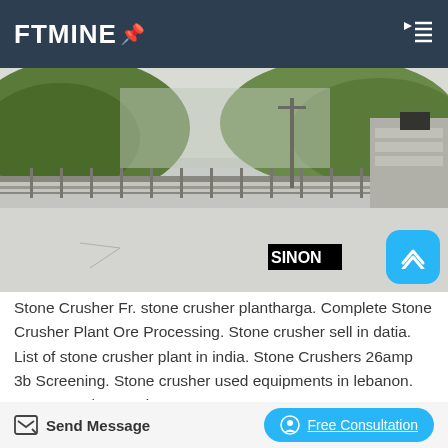FTMINE
[Figure (photo): Outdoor industrial facility with concrete ground, metal railings, green mountain hills in background, and a building structure on the right. SINON logo watermark visible at bottom right.]
Stone Crusher Fr. stone crusher plantharga. Complete Stone Crusher Plant Ore Processing. Stone crusher sell in datia. List of stone crusher plant in india. Stone Crushers 26amp 3b Screening. Stone crusher used equipments in lebanon. Stone Crusher Equipo. Stone Crusher...
Send Message   Free Consultation